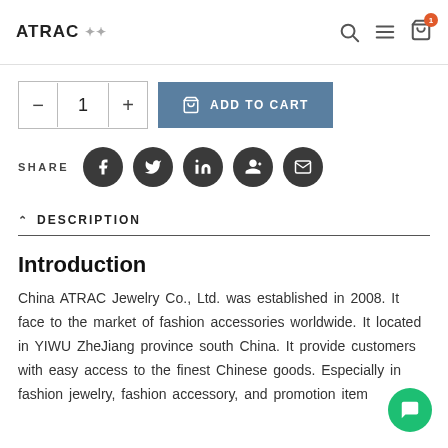ATRAC
1 ADD TO CART
SHARE
^ DESCRIPTION
Introduction
China ATRAC Jewelry Co., Ltd. was established in 2008. It face to the market of fashion accessories worldwide. It located in YIWU ZheJiang province south China. It provide customers with easy access to the finest Chinese goods. Especially in fashion jewelry, fashion accessory, and promotion item